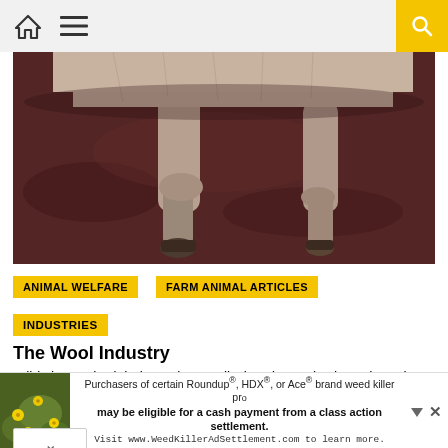Navigation bar with home icon, menu icon, and search button
[Figure (photo): Close-up photo of sheep legs and hooves on dark reddish-brown dirt ground, shot from below showing underbelly and legs of a sheep]
ANIMAL WELFARE
FARM ANIMAL ARTICLES
INDUSTRIES
The Wool Industry
Wild sheep shed their wool naturally, but domestic sheep have been bred to have thick heavy coats. The Merino, Australia's commonly raised sheep, is bred to have wrinkly skin that
[Figure (photo): Advertisement banner: yellow-green plant/flower image on left, text about Roundup, HDX, or Ace brand weed killer class action settlement, visit WeedKillerAdSettlement.com]